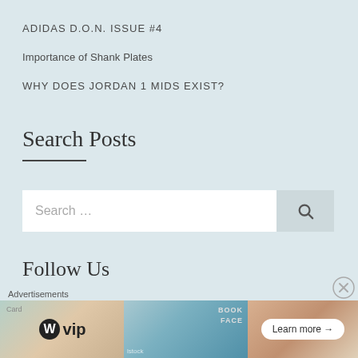ADIDAS D.O.N. ISSUE #4
Importance of Shank Plates
WHY DOES JORDAN 1 MIDS EXIST?
Search Posts
[Figure (other): Search input field with search button]
Follow Us
[Figure (other): Advertisement banner showing WordPress VIP and social media cards with a Learn more button]